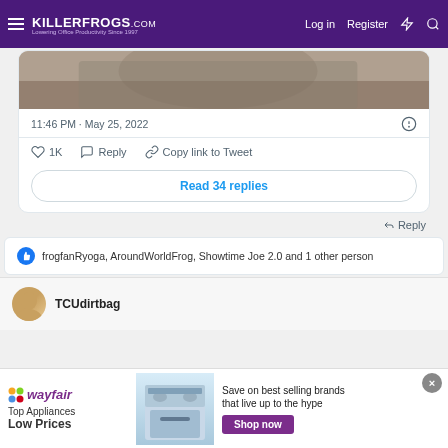KILLERFROGS.COM — Log in | Register
[Figure (photo): Partial photo of a person in a gray hoodie, cropped at the top of the tweet card]
11:46 PM · May 25, 2022
♡ 1K   Reply   Copy link to Tweet
Read 34 replies
↩ Reply
frogfanRyoga, AroundWorldFrog, Showtime Joe 2.0 and 1 other person
TCUdirtbag
[Figure (other): Wayfair advertisement banner: Top Appliances Low Prices, Save on best selling brands that live up to the hype, Shop now button]